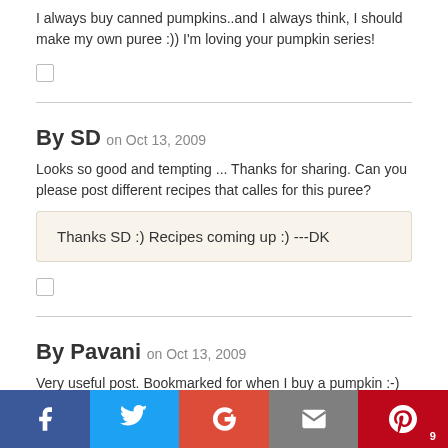I always buy canned pumpkins..and I always think, I should make my own puree :)) I'm loving your pumpkin series!
By SD on Oct 13, 2009
Looks so good and tempting ... Thanks for sharing. Can you please post different recipes that calles for this puree?
Thanks SD :) Recipes coming up :) ---DK
By Pavani on Oct 13, 2009
Very useful post. Bookmarked for when I buy a pumpkin :-)